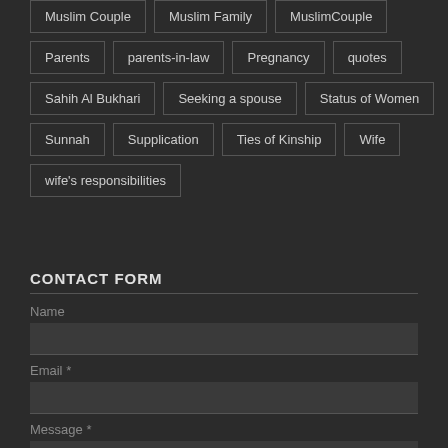Muslim Couple
Muslim Family
MuslimCouple
Parents
parents-in-law
Pregnancy
quotes
Sahih Al Bukhari
Seeking a spouse
Status of Women
Sunnah
Supplication
Ties of Kinship
Wife
wife's responsibilities
CONTACT FORM
Name
Email *
Message *